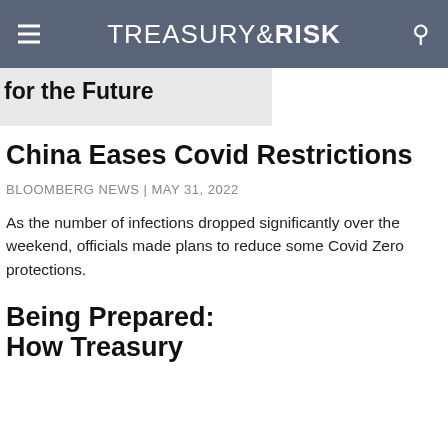TREASURY & RISK
for the Future
China Eases Covid Restrictions
BLOOMBERG NEWS | MAY 31, 2022
As the number of infections dropped significantly over the weekend, officials made plans to reduce some Covid Zero protections.
Being Prepared: How Treasury